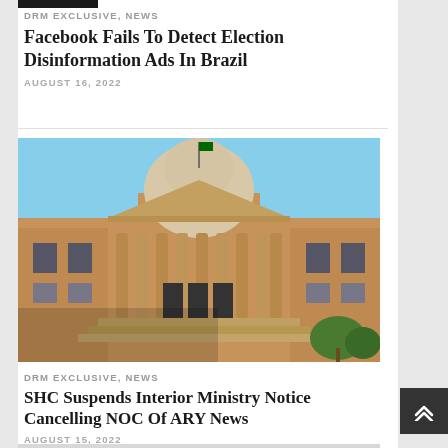DRM EXCLUSIVE, NEWS
Facebook Fails To Detect Election Disinformation Ads In Brazil
AUGUST 16, 2022
[Figure (photo): Neoclassical government or court building with large dome, columns, and sandstone facade under blue sky]
DRM EXCLUSIVE, NEWS
SHC Suspends Interior Ministry Notice Cancelling NOC Of ARY News
AUGUST 15, 2022